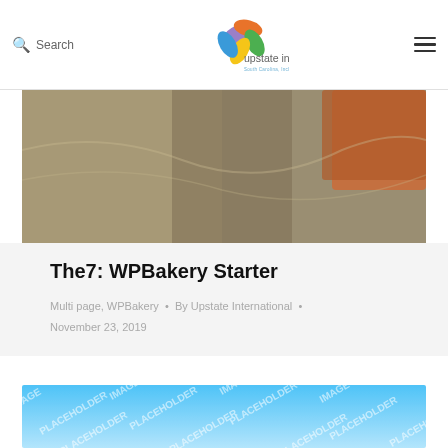Search | upstate international — South Carolina, Including The World.
[Figure (photo): Close-up photo of a person wearing a light-colored jacket with a dark orange/red bag visible at the upper right corner]
The7: WPBakery Starter
Multi page, WPBakery • By Upstate International • November 23, 2019
[Figure (photo): Image placeholder with repeated diagonal text 'IMAGE PLACEHOLDER' on a light blue gradient background]